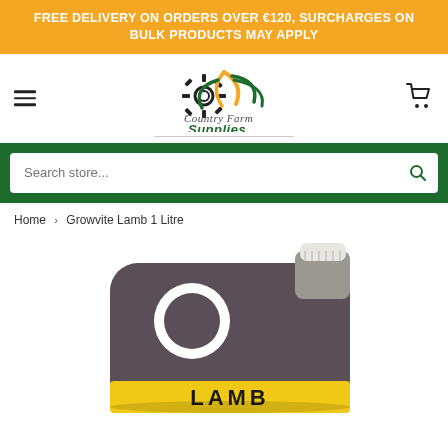FREE DELIVERY ON ORDERS OVER €120, SURCHARGES ON BULK PRODUCTS MAY APPLY
[Figure (logo): Country Farm Supplies logo with gear and wheat/leaf graphic in green and yellow, with company name below]
Search store...
Home › Growvite Lamb 1 Litre
[Figure (photo): Dark grey plastic 1-litre bottle with a white cap and handle hole, partially showing yellow label text reading LAMB at the bottom]